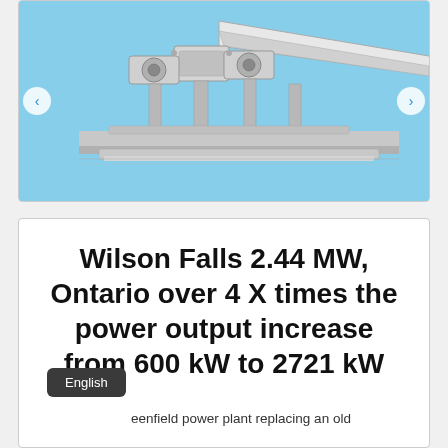[Figure (illustration): Technical illustration of a hydroelectric power plant turbine/generator assembly shown in isometric view with light blue background. Navigation arrows visible on left and right sides.]
Wilson Falls 2.44 MW, Ontario over 4 X times the power output increase from 600 kW to 2721 kW
eenfield power plant replacing an old